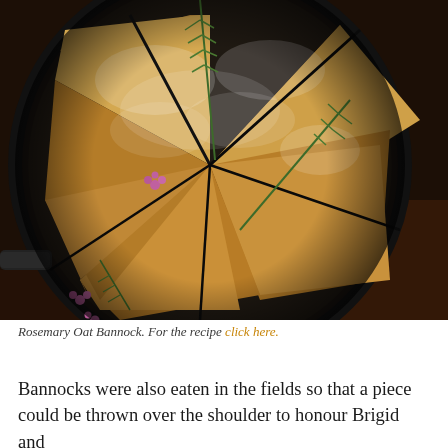[Figure (photo): Overhead photograph of a Rosemary Oat Bannock in a dark cast iron pan, cut into wedge-shaped pieces. The bannock is dusted with flour/oats on top and garnished with sprigs of rosemary and small pink heather flowers. The background is a dark wooden surface.]
Rosemary Oat Bannock. For the recipe click here.
Bannocks were also eaten in the fields so that a piece could be thrown over the shoulder to honour Brigid and